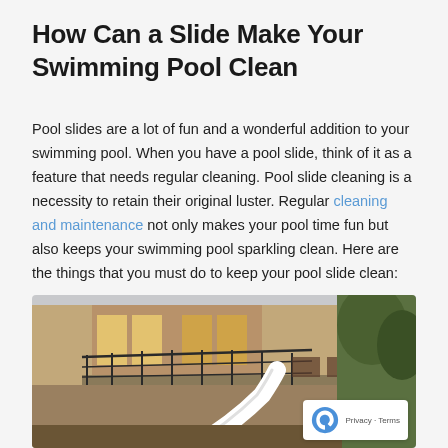How Can a Slide Make Your Swimming Pool Clean
Pool slides are a lot of fun and a wonderful addition to your swimming pool. When you have a pool slide, think of it as a feature that needs regular cleaning. Pool slide cleaning is a necessity to retain their original luster. Regular cleaning and maintenance not only makes your pool time fun but also keeps your swimming pool sparkling clean. Here are the things that you must do to keep your pool slide clean:
[Figure (photo): Outdoor photo showing a house with a balcony, metal railing, and a white pool slide visible in the foreground, surrounded by outdoor furniture and trees.]